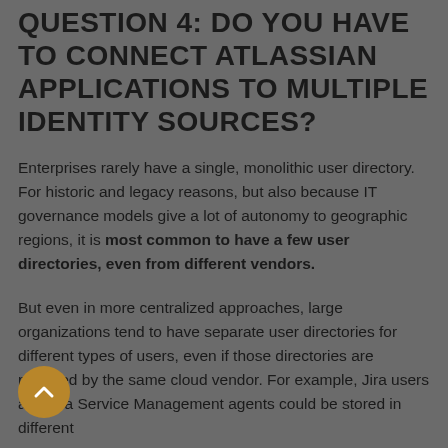QUESTION 4: DO YOU HAVE TO CONNECT ATLASSIAN APPLICATIONS TO MULTIPLE IDENTITY SOURCES?
Enterprises rarely have a single, monolithic user directory. For historic and legacy reasons, but also because IT governance models give a lot of autonomy to geographic regions, it is most common to have a few user directories, even from different vendors.
But even in more centralized approaches, large organizations tend to have separate user directories for different types of users, even if those directories are provided by the same cloud vendor. For example, Jira users and Jira Service Management agents could be stored in different